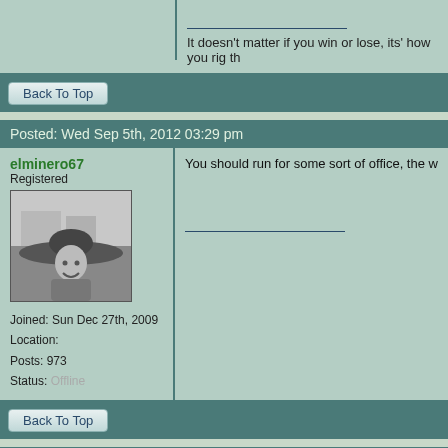It doesn't matter if you win or lose, its' how you rig th
Back To Top
Posted: Wed Sep 5th, 2012 03:29 pm
elminero67
Registered
Joined: Sun Dec 27th, 2009
Location:
Posts: 973
Status: Offline
You should run for some sort of office, the way you d
Back To Top
Posted: Fri Sep 7th, 2012 04:25 pm
W C Greene
Moderator
Duane- I am already the "mayor" of Mogollon and "p
Politically correct-ism? What??